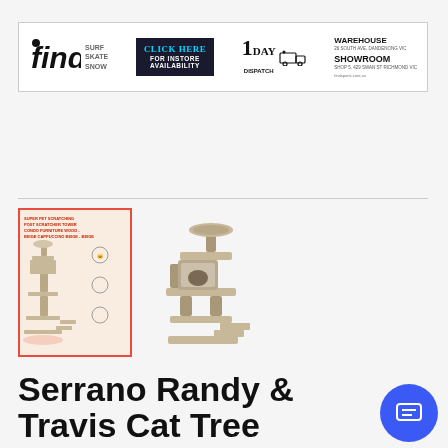[Figure (infographic): Find Sports banner advertisement showing logo with SURF SKATE SNOW text, CLICK HERE FOR INSTORE AVAILABILITY button, 1 DAY DISPATCH icon, and WAREHOUSE SHOWROOM Richmond VIC details]
[Figure (photo): Thumbnail image of Serrano Randy & Travis cat tree scratching post with red border, showing product features]
[Figure (photo): Main product image of cat tree scratching post tower, grey/beige colored multi-level cat furniture]
Serrano Randy & Travis Cat Tree Scratching Post Scratcher Tower Condo House Furniture Wood Beige 100...